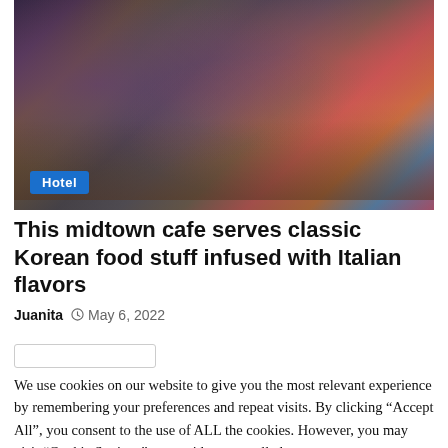[Figure (photo): Interior of a Korean BBQ restaurant with dark furniture, tables with embedded grills, colorful murals on the right wall, purple floral decorations hanging from ceiling, and mood lighting]
Hotel
This midtown cafe serves classic Korean food stuff infused with Italian flavors
Juanita  May 6, 2022
...
We use cookies on our website to give you the most relevant experience by remembering your preferences and repeat visits. By clicking “Accept All”, you consent to the use of ALL the cookies. However, you may visit “Cookie Settings” to provide a controlled consent.